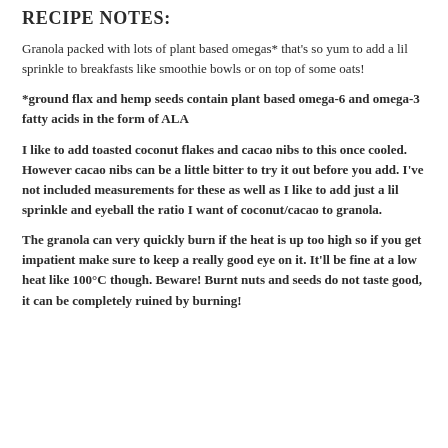RECIPE NOTES:
Granola packed with lots of plant based omegas* that's so yum to add a lil sprinkle to breakfasts like smoothie bowls or on top of some oats!
*ground flax and hemp seeds contain plant based omega-6 and omega-3  fatty acids in the form of ALA
I like to add toasted coconut flakes and cacao nibs to this once cooled. However cacao nibs can be a little bitter to try it out before you add. I've not included measurements for these as well as I like to add just a lil sprinkle and eyeball the ratio I want of coconut/cacao to granola.
The granola can very quickly burn if the heat is up too high so if you get impatient make sure to keep a really good eye on it. It'll be fine at a low heat like 100°C though. Beware! Burnt nuts and seeds do not taste good, it can be completely ruined by burning!